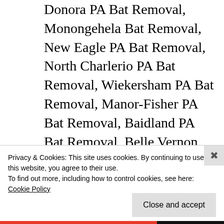Donora PA Bat Removal, Monongehela Bat Removal, New Eagle PA Bat Removal, North Charlerio PA Bat Removal, Wiekersham PA Bat Removal, Manor-Fisher PA Bat Removal, Baidland PA Bat Removal, Belle Vernon PA Bat Removal, Lynnwood-Pricedale PA Bat Removal, Twilight PA Bat Removal, Amclenand PA Bat...
Privacy & Cookies: This site uses cookies. By continuing to use this website, you agree to their use.
To find out more, including how to control cookies, see here: Cookie Policy